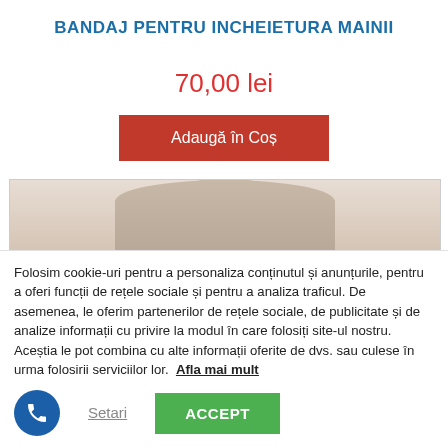BANDAJ PENTRU INCHEIETURA MAINII
70,00 lei
Adaugă în Coș
[Figure (photo): Partial view of a person wearing a beige/nude top, showing neck and upper chest area]
Folosim cookie-uri pentru a personaliza conținutul și anunțurile, pentru a oferi funcții de rețele sociale și pentru a analiza traficul. De asemenea, le oferim partenerilor de rețele sociale, de publicitate și de analize informații cu privire la modul în care folosiți site-ul nostru. Aceștia le pot combina cu alte informații oferite de dvs. sau culese în urma folosirii serviciilor lor.  Afla mai mult
Setari
ACCEPT